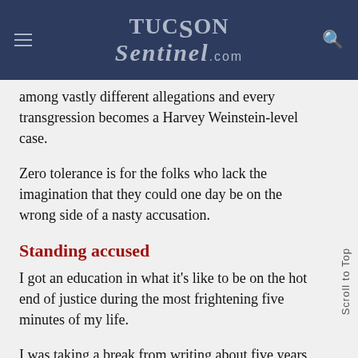TucsonSentinel.com
among vastly different allegations and every transgression becomes a Harvey Weinstein-level case.
Zero tolerance is for the folks who lack the imagination that they could one day be on the wrong side of a nasty accusation.
Standing accused
I got an education in what it's like to be on the hot end of justice during the most frightening five minutes of my life.
I was taking a break from writing about five years ago and walking out on a desert path near my apartment along River Road.
A cop car rolled up on me. "Hello, officer," I said. "How